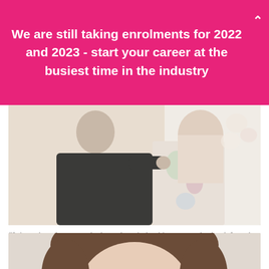We are still taking enrolments for 2022 and 2023 - start your career at the busiest time in the industry
[Figure (photo): A person in dark clothing applying makeup or styling another person who is wearing a floral robe, in a bright room.]
“It is such an honour to be hosted again by this respected school. I used to see their advertisements in the back of magazines and longed to be a student there. Now they are hosting me for a masterclass! Ha!”
[Figure (photo): A close-up portrait photo of a person with brown hair.]